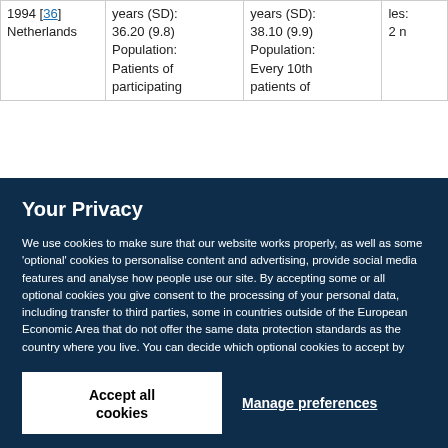|  | Intervention group | Control group |  |
| --- | --- | --- | --- |
| 1994 [36]
Netherlands | years (SD):
36.20 (9.8)
Population:
Patients of
participating | years (SD):
38.10 (9.9)
Population:
Every 10th
patients of | les:
2 n |
Your Privacy
We use cookies to make sure that our website works properly, as well as some 'optional' cookies to personalise content and advertising, provide social media features and analyse how people use our site. By accepting some or all optional cookies you give consent to the processing of your personal data, including transfer to third parties, some in countries outside of the European Economic Area that do not offer the same data protection standards as the country where you live. You can decide which optional cookies to accept by clicking on 'Manage Settings', where you can also find more information about how your personal data is processed. Further information can be found in our privacy policy.
Accept all cookies
Manage preferences